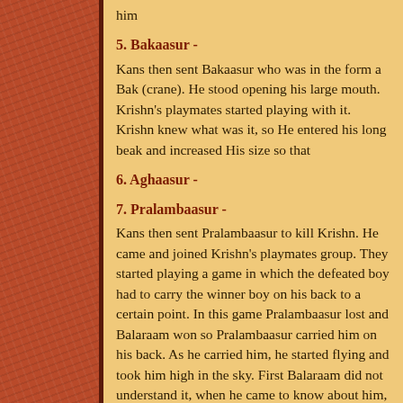him
5. Bakaasur -
Kans then sent Bakaasur who was in the form a Bak (crane). He stood opening his large mouth. Krishn's playmates started playing with it. Krishn knew what was it, so He entered his long beak and increased His size so that
6. Aghaasur -
7. Pralambaasur -
Kans then sent Pralambaasur to kill Krishn. He came and joined Krishn's playmates group. They started playing a game in which the defeated boy had to carry the winner boy on his back to a certain point. In this game Pralambaasur lost and Balaraam won so Pralambaasur carried him on his back. As he carried him, he started flying and took him high in the sky. First Balaraam did not understand it, when he came to know about him, he killed him in the sky itself.